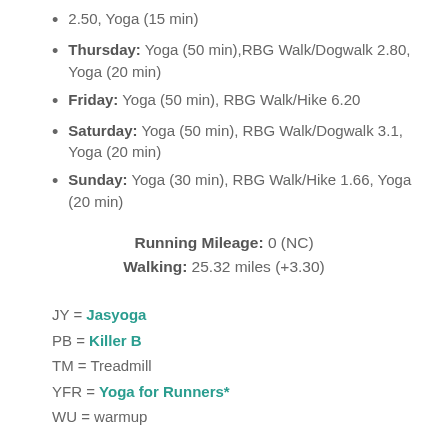2.50, Yoga (15 min)
Thursday: Yoga (50 min),RBG Walk/Dogwalk 2.80, Yoga (20 min)
Friday: Yoga (50 min), RBG Walk/Hike 6.20
Saturday: Yoga (50 min), RBG Walk/Dogwalk 3.1, Yoga (20 min)
Sunday: Yoga (30 min), RBG Walk/Hike 1.66, Yoga (20 min)
Running Mileage: 0 (NC)
Walking: 25.32 miles (+3.30)
JY = Jasyoga
PB = Killer B
TM = Treadmill
YFR = Yoga for Runners*
WU = warmup